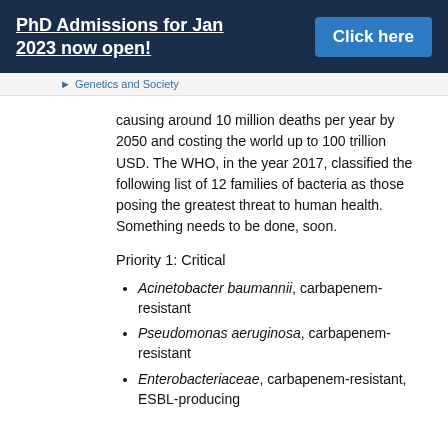PhD Admissions for Jan 2023 now open! Click here
Genetics and Society
causing around 10 million deaths per year by 2050 and costing the world up to 100 trillion USD. The WHO, in the year 2017, classified the following list of 12 families of bacteria as those posing the greatest threat to human health. Something needs to be done, soon.
Priority 1: Critical
Acinetobacter baumannii, carbapenem-resistant
Pseudomonas aeruginosa, carbapenem-resistant
Enterobacteriaceae, carbapenem-resistant, ESBL-producing